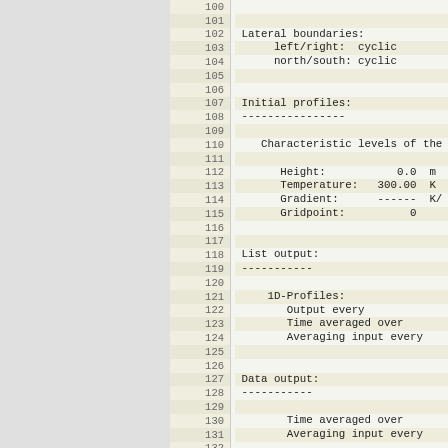Lines 100-132 of simulation configuration output showing lateral boundaries (cyclic), initial profiles with characteristic levels (Height: 0.0 m, Temperature: 300.00 K, Gradient: ------, Gridpoint: 0), list output section (1D-Profiles: Output every, Time averaged over, Averaging input every), and data output section (Time averaged over, Averaging input every).